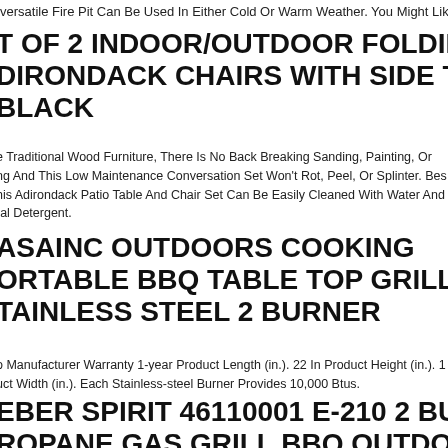versatile Fire Pit Can Be Used In Either Cold Or Warm Weather. You Might Like T
T OF 2 INDOOR/OUTDOOR FOLDING
DIRONDACK CHAIRS WITH SIDE TABL
BLACK
e Traditional Wood Furniture, There Is No Back Breaking Sanding, Painting, Or
ng And This Low Maintenance Conversation Set Won't Rot, Peel, Or Splinter. Bes
his Adirondack Patio Table And Chair Set Can Be Easily Cleaned With Water And
ral Detergent.
ASAINC OUTDOORS COOKING
ORTABLE BBQ TABLE TOP GRILL
TAINLESS STEEL 2 BURNER
o Manufacturer Warranty 1-year Product Length (in.). 22 In Product Height (in.). 1
uct Width (in.). Each Stainless-steel Burner Provides 10,000 Btus.
EBER SPIRIT 46110001 E-210 2 BURNE
ROPANE GAS GRILL BBQ OUTDOOR